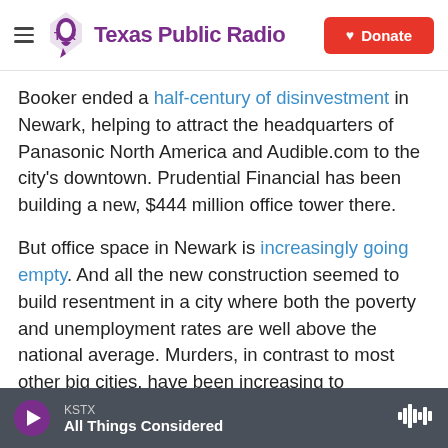Texas Public Radio | Donate
Booker ended a half-century of disinvestment in Newark, helping to attract the headquarters of Panasonic North America and Audible.com to the city's downtown. Prudential Financial has been building a new, $444 million office tower there.
But office space in Newark is increasingly going empty. And all the new construction seemed to build resentment in a city where both the poverty and unemployment rates are well above the national average. Murders, in contrast to most other big cities, have been increasing to generational highs.
KSTX | All Things Considered